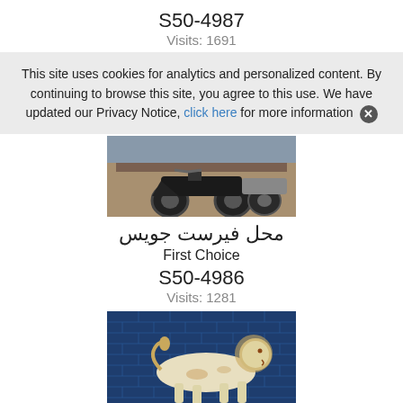S50-4987
Visits: 1691
This site uses cookies for analytics and personalized content. By continuing to browse this site, you agree to this use. We have updated our Privacy Notice, click here for more information ×
[Figure (photo): Photo of motorcycles in what appears to be a showroom or garage]
محل فیرست جویس
First Choice
S50-4986
Visits: 1281
[Figure (photo): Mosaic of a lion on a blue tiled wall, ancient Babylonian style]